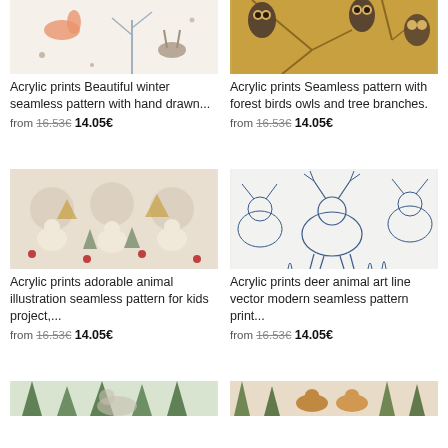[Figure (illustration): Acrylic print product image showing a beautiful winter seamless pattern with hand drawn forest animals and trees (partially visible at top)]
Acrylic prints Beautiful winter seamless pattern with hand drawn...
from 16.53€ 14.05€
[Figure (illustration): Acrylic print product image showing a seamless pattern with forest birds owls sitting on tree branches on golden background (partially visible at top)]
Acrylic prints Seamless pattern with forest birds owls and tree branches.
from 16.53€ 14.05€
[Figure (illustration): Acrylic print product showing adorable animal illustration seamless pattern for kids with bears, rabbits, trees and flowers on beige background]
Acrylic prints adorable animal illustration seamless pattern for kids project,...
from 16.53€ 14.05€
[Figure (illustration): Acrylic print product showing deer animal art line vector modern seamless pattern print in blue outlines on white background]
Acrylic prints deer animal art line vector modern seamless pattern print...
from 16.53€ 14.05€
[Figure (illustration): Acrylic print product showing forest wolves pattern (partially visible at bottom of page)]
[Figure (illustration): Acrylic print product showing horses among pine trees pattern (partially visible at bottom of page)]